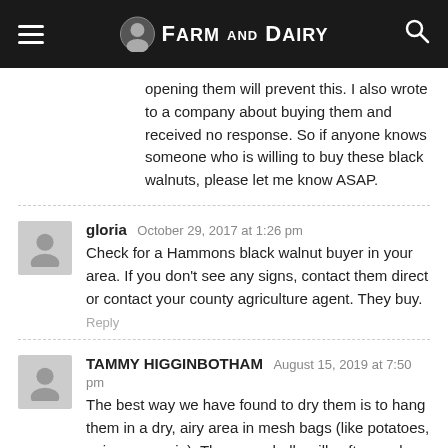Farm and Dairy
opening them will prevent this. I also wrote to a company about buying them and received no response. So if anyone knows someone who is willing to buy these black walnuts, please let me know ASAP.
gloria  October 29, 2017 at 1:26 pm
Check for a Hammons black walnut buyer in your area. If you don't see any signs, contact them direct or contact your county agriculture agent. They buy.
Reply
TAMMY HIGGINBOTHAM  August 15, 2019 at 7:50 pm
The best way we have found to dry them is to hang them in a dry, airy area in mesh bags (like potatoes, onions come in). The green hulls will soften and start turning